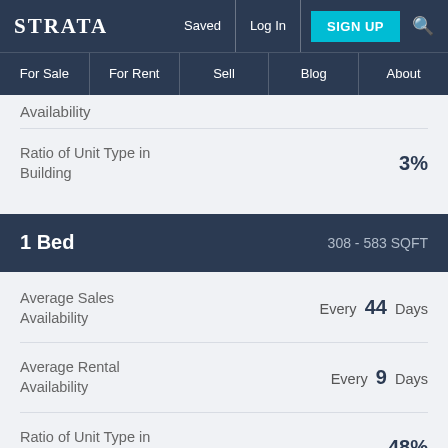STRATA | Saved | Log In | SIGN UP
For Sale | For Rent | Sell | Blog | About
Availability
|  |  |
| --- | --- |
| Ratio of Unit Type in Building | 3% |
1 Bed  308 - 583 SQFT
|  |  |
| --- | --- |
| Average Sales Availability | Every 44 Days |
| Average Rental Availability | Every 9 Days |
| Ratio of Unit Type in Building | 48% |